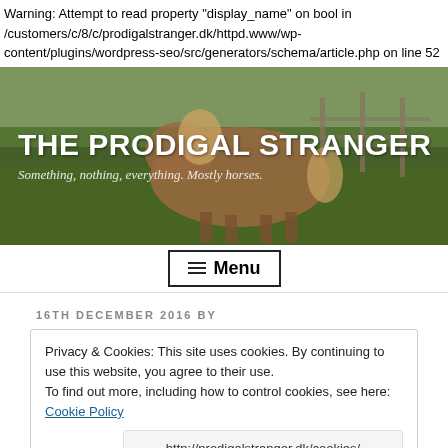Warning: Attempt to read property "display_name" on bool in /customers/c/8/c/prodigalstranger.dk/httpd.www/wp-content/plugins/wordpress-seo/src/generators/schema/article.php on line 52
[Figure (photo): Hero banner photo of a horse in a green field with fence, overlaid with blog title 'THE PRODIGAL STRANGER' and subtitle 'Something, nothing, everything. Mostly horses.']
THE PRODIGAL STRANGER
Something, nothing, everything. Mostly horses.
Menu
16TH DECEMBER 2016 BY
Privacy & Cookies: This site uses cookies. By continuing to use this website, you agree to their use.
To find out more, including how to control cookies, see here: Cookie Policy
http://prodigalstranger.dk/cookies/
[Figure (photo): Bottom portion of a photo showing a dark landscape silhouette at dusk/dawn]